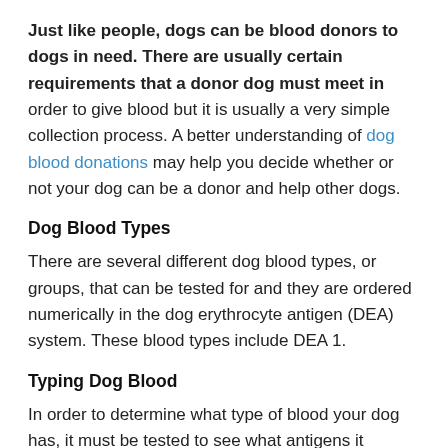Just like people, dogs can be blood donors to dogs in need. There are usually certain requirements that a donor dog must meet in order to give blood but it is usually a very simple collection process. A better understanding of dog blood donations may help you decide whether or not your dog can be a donor and help other dogs.
Dog Blood Types
There are several different dog blood types, or groups, that can be tested for and they are ordered numerically in the dog erythrocyte antigen (DEA) system. These blood types include DEA 1.
Typing Dog Blood
In order to determine what type of blood your dog has, it must be tested to see what antigens it contains.2, 1.3, 3, 4, 5, and 7. Several other types also exist, but there are no tests for them. Blood banks will type the blood they receive in order to know